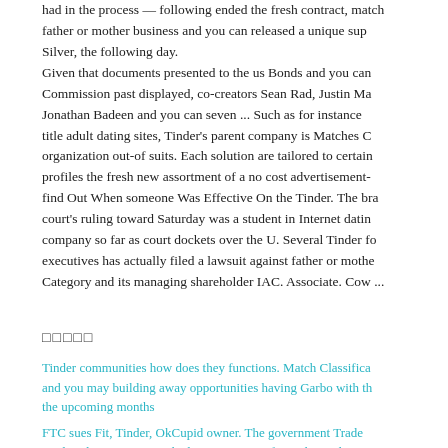had in the process — following ended the fresh contract, match father or mother business and you can released a unique sup Silver, the following day. Given that documents presented to the us Bonds and you can Commission past displayed, co-creators Sean Rad, Justin Ma Jonathan Badeen and you can seven ... Such as for instance title adult dating sites, Tinder's parent company is Matches C organization out-of suits. Each solution are tailored to certain profiles the fresh new assortment of a no cost advertisement- find Out When someone Was Effective On the Tinder. The bra court's ruling toward Saturday was a student in Internet datin company so far as court dockets over the U. Several Tinder fo executives has actually filed a lawsuit against father or mothe Category and its managing shareholder IAC. Associate. Cow ...
□□□□□
Tinder communities how does they functions. Match Classifica and you may building away opportunities having Garbo with th the upcoming months
FTC sues Fit, Tinder, OkCupid owner. The government Trade Wednesday against Match alone, manager of Match, Tinder...